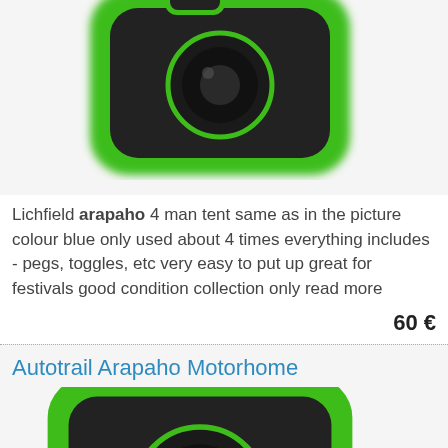[Figure (photo): Partial view of a green and black camera or electronic device icon/logo, cropped at top]
Lichfield arapaho 4 man tent same as in the picture colour blue only used about 4 times everything includes - pegs, toggles, etc very easy to put up great for festivals good condition collection only read more
60 €
Autotrail Arapaho Motorhome
[Figure (photo): Partial view of a green and black camera or electronic device icon/logo, cropped at bottom]